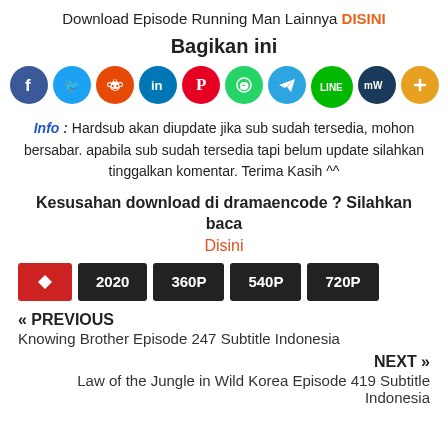Download Episode Running Man Lainnya DISINI
Bagikan ini
[Figure (infographic): Row of 10 social media share buttons: Facebook, Twitter, Reddit, LinkedIn, Pinterest, WhatsApp, Telegram, LINE, MediaWiki/MW, Plus/More]
Info : Hardsub akan diupdate jika sub sudah tersedia, mohon bersabar. apabila sub sudah tersedia tapi belum update silahkan tinggalkan komentar. Terima Kasih ^^
Kesusahan download di dramaencode ? Silahkan baca Disini
2020  360P  540P  720P
« PREVIOUS
Knowing Brother Episode 247 Subtitle Indonesia
NEXT »
Law of the Jungle in Wild Korea Episode 419 Subtitle Indonesia